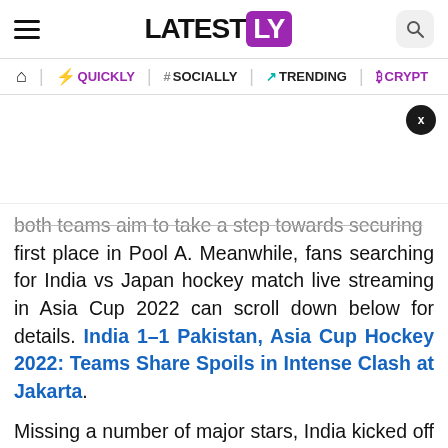LATESTLY
QUICKLY | # SOCIALLY | TRENDING | CRYPTO
both teams aim to take a step towards securing first place in Pool A. Meanwhile, fans searching for India vs Japan hockey match live streaming in Asia Cup 2022 can scroll down below for details. India 1–1 Pakistan, Asia Cup Hockey 2022: Teams Share Spoils in Intense Clash at Jakarta.
Missing a number of major stars, India kicked off the campaign against rivals Pakistan. The